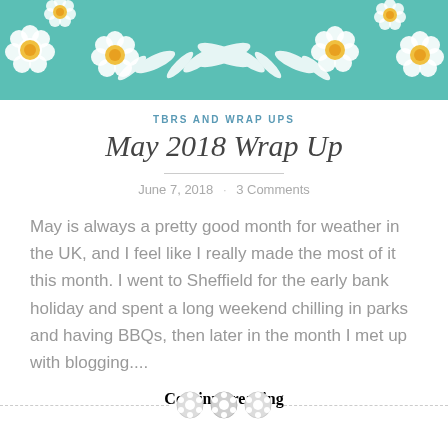[Figure (illustration): Decorative banner with teal/mint background featuring white daisy flowers and white leaf/fern patterns]
TBRS AND WRAP UPS
May 2018 Wrap Up
June 7, 2018 · 3 Comments
May is always a pretty good month for weather in the UK, and I feel like I really made the most of it this month. I went to Sheffield for the early bank holiday and spent a long weekend chilling in parks and having BBQs, then later in the month I met up with blogging....
Continue reading
[Figure (illustration): Decorative footer with dashed line and three button/circle icons]